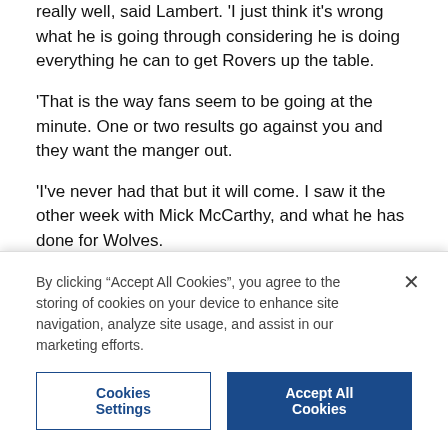really well, said Lambert. 'I just think it's wrong what he is going through considering he is doing everything he can to get Rovers up the table.
'That is the way fans seem to be going at the minute. One or two results go against you and they want the manger out.
'I've never had that but it will come. I saw it the other week with Mick McCarthy, and what he has done for Wolves.
'It's not nice, no matter who you are or how big you are.
Most Read
By clicking "Accept All Cookies", you agree to the storing of cookies on your device to enhance site navigation, analyze site usage, and assist in our marketing efforts.